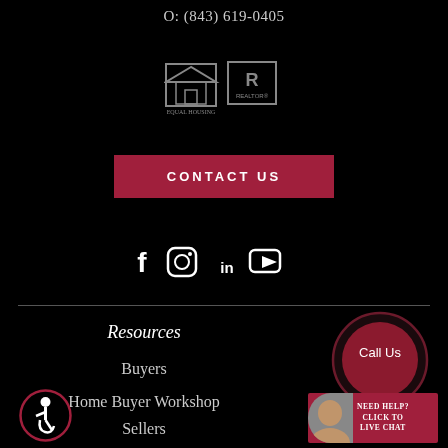O: (843) 619-0405
[Figure (logo): Equal Housing Opportunity and REALTOR logos]
CONTACT US
[Figure (infographic): Social media icons: Facebook, Instagram, LinkedIn, YouTube]
Resources
Buyers
Home Buyer Workshop
Sellers
[Figure (other): Call Us circular button with dark red background]
[Figure (other): Accessibility icon - wheelchair symbol]
[Figure (other): Need Help? Click to Live Chat widget with photo]